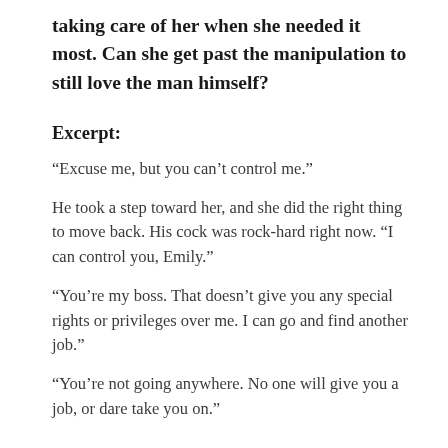taking care of her when she needed it most. Can she get past the manipulation to still love the man himself?
Excerpt:
“Excuse me, but you can’t control me.”
He took a step toward her, and she did the right thing to move back. His cock was rock-hard right now. “I can control you, Emily.”
“You’re my boss. That doesn’t give you any special rights or privileges over me. I can go and find another job.”
“You’re not going anywhere. No one will give you a job, or dare take you on.”